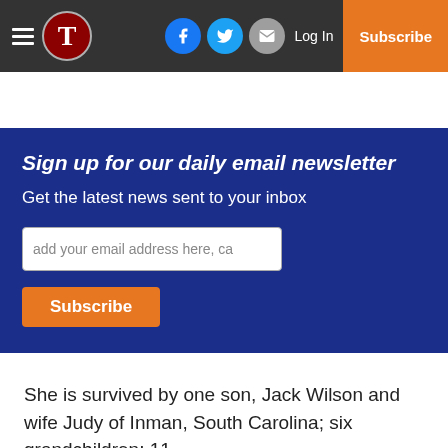T | Log In | Subscribe
Sign up for our daily email newsletter
Get the latest news sent to your inbox
She is survived by one son, Jack Wilson and wife Judy of Inman, South Carolina; six grandchildren; 11